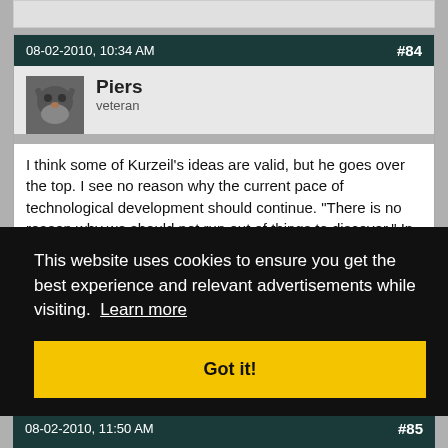08-02-2010, 10:34 AM  #84
Piers
vetéran
I think some of Kurzeil's ideas are valid, but he goes over the top. I see no reason why the current pace of technological development should continue. “There is no reason why we should not run out of things to discover.” In fact I think the rate of technological advancments will eventually ground to a relative halt.
This website uses cookies to ensure you get the best experience and relevant advertisements while visiting.  Learn more
Got it!
08-02-2010, 11:50 AM  #85